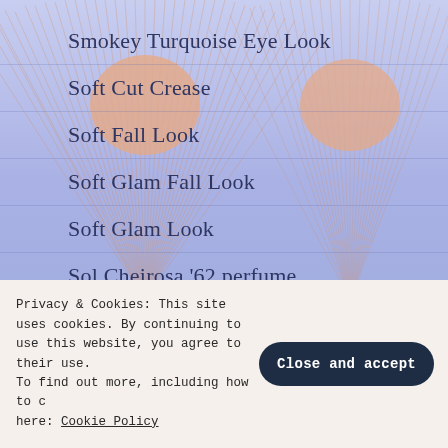[Figure (illustration): Decorative background: lavender/periwinkle blue gradient with peach/salmon sun burst rays emanating from two circular suns, with horizontal water reflection bands]
Smokey Turquoise Eye Look
Soft Cut Crease
Soft Fall Look
Soft Glam Fall Look
Soft Glam Look
Sol Cheirosa '62 perfume
Sol De Janeiro
Sol De Janeiro Haul
Spoonie Stuff
Spring Inspired Makeup Look
Privacy & Cookies: This site uses cookies. By continuing to use this website, you agree to their use. To find out more, including how to control cookies, see here: Cookie Policy
Close and accept